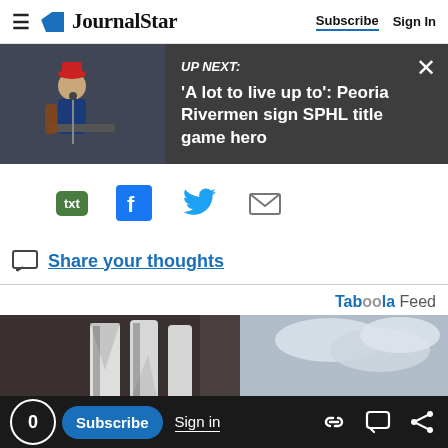JournalStar — Subscribe | Sign In
[Figure (screenshot): Up Next banner with thumbnail of a musician at a podium on dark background, with text: UP NEXT: 'A lot to live up to': Peoria Rivermen sign SPHL title game hero]
[Figure (infographic): Share icons row: txt (green), Facebook (blue), Twitter (blue bird), Email (gray envelope)]
Share your thoughts
Taboola Feed
[Figure (photo): Large partial photo showing a sign with large letters against a cloudy sky and dark building facade]
0 | Subscribe | Sign in | (link, comment, share icons)